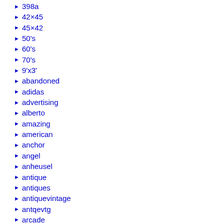398a
42×45
45×42
50's
60's
70's
9'x3'
abandoned
adidas
advertising
alberto
amazing
american
anchor
angel
anheusel
antique
antiques
antiquevintage
antqevtg
arcade
asked